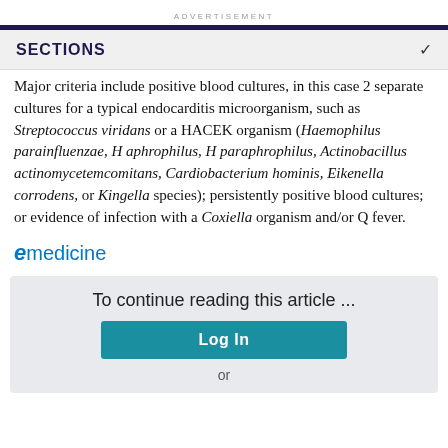ADVERTISEMENT
SECTIONS
Major criteria include positive blood cultures, in this case 2 separate cultures for a typical endocarditis microorganism, such as Streptococcus viridans or a HACEK organism (Haemophilus parainfluenzae, H aphrophilus, H paraphrophilus, Actinobacillus actinomycetemcomitans, Cardiobacterium hominis, Eikenella corrodens, or Kingella species); persistently positive blood cultures; or evidence of infection with a Coxiella organism and/or Q fever.
[Figure (logo): eMedicine logo with stylized 'e' and 'medicine' text]
To continue reading this article ...
Log In
or